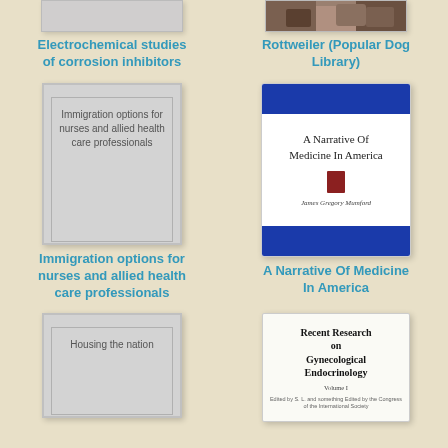[Figure (illustration): Partial top view of book cover for Electrochemical studies of corrosion inhibitors - gray book cover]
Electrochemical studies of corrosion inhibitors
[Figure (illustration): Partial top view of book cover for Rottweiler (Popular Dog Library) - photo of dogs]
Rottweiler (Popular Dog Library)
[Figure (illustration): Book cover for Immigration options for nurses and allied health care professionals - plain gray cover with text]
Immigration options for nurses and allied health care professionals
[Figure (illustration): Book cover for A Narrative Of Medicine In America - white cover with blue bars, by James Gregory Mumford]
A Narrative Of Medicine In America
[Figure (illustration): Book cover for Housing the nation - plain gray cover with text]
[Figure (illustration): Book cover for Recent Research on Gynecological Endocrinology Volume I - white cover with bold title text]